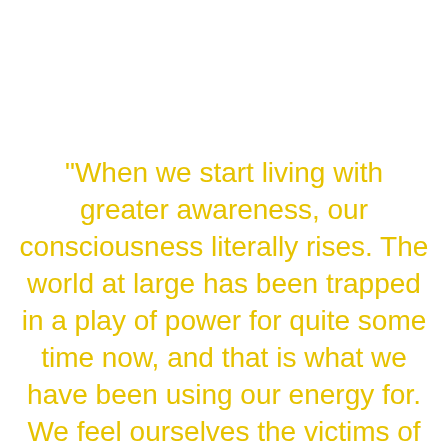"When we start living with greater awareness, our consciousness literally rises. The world at large has been trapped in a play of power for quite some time now, and that is what we have been using our energy for. We feel ourselves the victims of circumstances and struggle to conquer them - to 'get control over our lives'. In the process we trample over hearts - our own, and other's. We do this as individuals, nations and as a global phenomenon" - Shakti Malan.